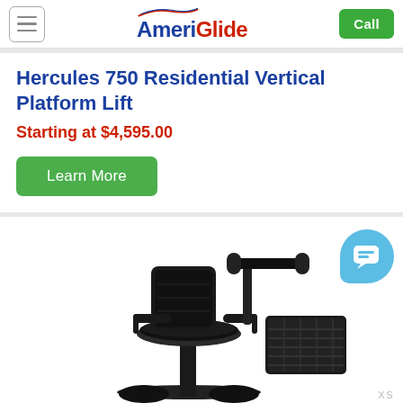AmeriGlide
Hercules 750 Residential Vertical Platform Lift
Starting at $4,595.00
Learn More
[Figure (photo): Photo of a mobility scooter/power wheelchair with black upholstered seat, armrests, handlebar controls, and a black basket on the front, viewed from the side-front angle.]